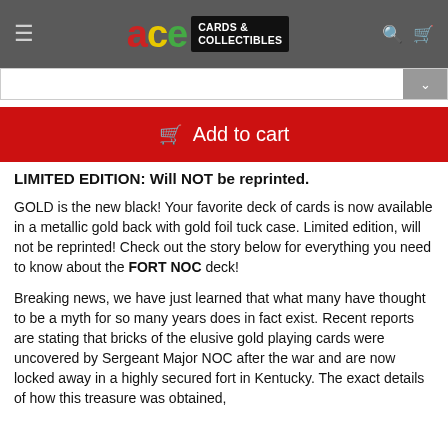ace CARDS & COLLECTIBLES
Add to cart
LIMITED EDITION: Will NOT be reprinted.
GOLD is the new black! Your favorite deck of cards is now available in a metallic gold back with gold foil tuck case. Limited edition, will not be reprinted! Check out the story below for everything you need to know about the FORT NOC deck!
Breaking news, we have just learned that what many have thought to be a myth for so many years does in fact exist. Recent reports are stating that bricks of the elusive gold playing cards were uncovered by Sergeant Major NOC after the war and are now locked away in a highly secured fort in Kentucky. The exact details of how this treasure was obtained,